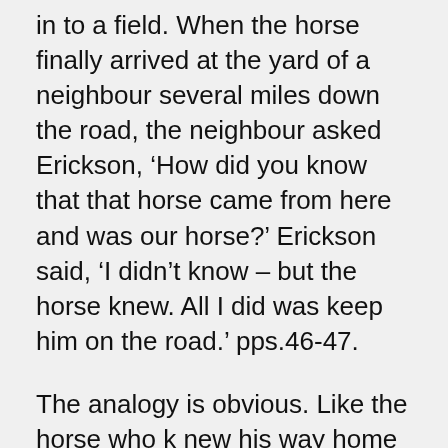in to a field. When the horse finally arrived at the yard of a neighbour several miles down the road, the neighbour asked Erickson, ‘How did you know that that horse came from here and was our horse?’ Erickson said, ‘I didn’t know – but the horse knew. All I did was keep him on the road.’ pps.46-47.
The analogy is obvious. Like the horse who k new his way home without intervention, the unconscious mind knows instinctively how to solve the problem; (3) Talking to the amygdala, in which the therapist uses metaphors and